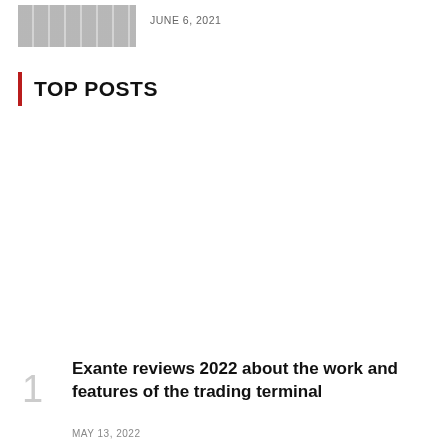[Figure (photo): Small thumbnail image placeholder, appears as a blurred or faded article image]
JUNE 6, 2021
TOP POSTS
1
Exante reviews 2022 about the work and features of the trading terminal
MAY 13, 2022